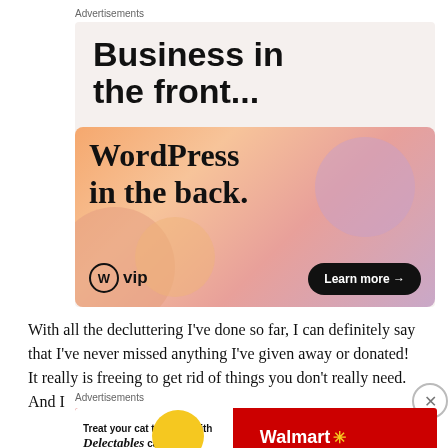Advertisements
[Figure (illustration): WordPress VIP advertisement. Top section on light beige background reads 'Business in the front...' in bold black sans-serif. Bottom gradient section (orange to lavender) reads 'WordPress in the back.' with WordPress VIP logo and 'Learn more →' button.]
With all the decluttering I've done so far, I can definitely say that I've never missed anything I've given away or donated! It really is freeing to get rid of things you don't really need. And I
Advertisements
[Figure (illustration): Walmart advertisement for Delectables cat treats. White left panel reads 'Treat your cat the best with Delectables cat treats' with a yellow circle and cat photo. Red right panel shows Walmart logo with spark symbol.]